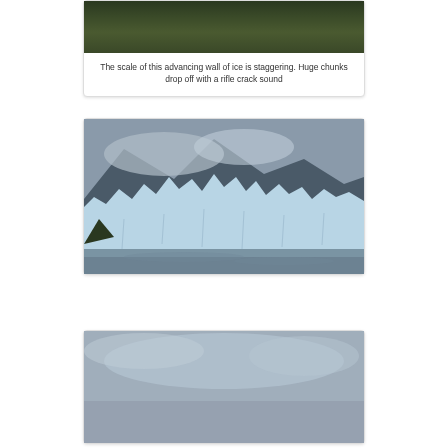[Figure (photo): Top portion of a glacier/forested landscape photo, showing dark green treetops against a grey sky, cropped at top of page]
The scale of this advancing wall of ice is staggering. Huge chunks drop off with a rifle crack sound
[Figure (photo): Photograph of a glacier face (Perito Moreno or similar) showing jagged blue-white ice wall with dark mountain and low clouds in background, water in foreground]
[Figure (photo): Photograph partially visible at bottom of page showing overcast grey sky, beginning of a glacier or water scene]